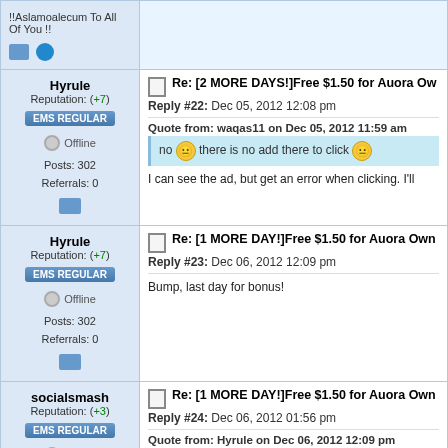!!Aslamoalecum To All Of You !!
Hyrule
Reputation: (+7)
EMS REGULAR
Offline
Posts: 302
Referrals: 0
Re: [2 MORE DAYS!]Free $1.50 for Auora Ow...
Reply #22: Dec 05, 2012 12:08 pm
Quote from: waqas11 on Dec 05, 2012 11:59 am
no there is no add there to click
I can see the ad, but get an error when clicking. I'll...
Hyrule
Reputation: (+7)
EMS REGULAR
Offline
Posts: 302
Referrals: 0
Re: [1 MORE DAY!]Free $1.50 for Auora Own...
Reply #23: Dec 06, 2012 12:09 pm
Bump, last day for bonus!
socialsmash
Reputation: (+3)
EMS REGULAR
Offline
Re: [1 MORE DAY!]Free $1.50 for Auora Own...
Reply #24: Dec 06, 2012 01:56 pm
Quote from: Hyrule on Dec 06, 2012 12:09 pm
Bump, last day for bonus!